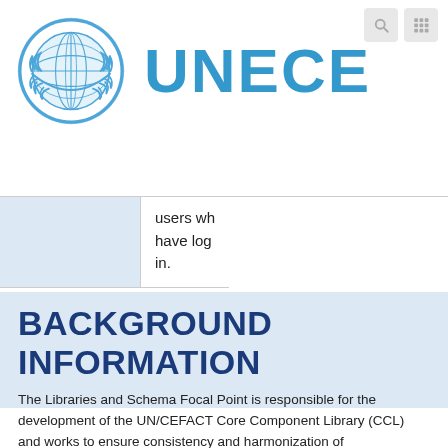[Figure (logo): UNECE logo with UN emblem globe and laurel wreath in blue, followed by bold blue text 'UNECE']
users who have logged in.
BACKGROUND INFORMATION
The Libraries and Schema Focal Point is responsible for the development of the UN/CEFACT Core Component Library (CCL) and works to ensure consistency and harmonization of